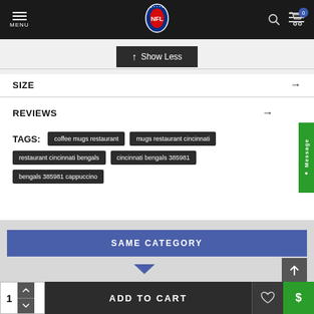NFL Shop – Menu, Search, Cart
↑ Show Less
SIZE →
REVIEWS →
TAGS: coffee mugs restaurant | mugs restaurant cincinnati | restaurant cincinnati bengals | cincinnati bengals 385981 | bengals 385981 cappuccino
SAME CATEGORY
ADD TO CART